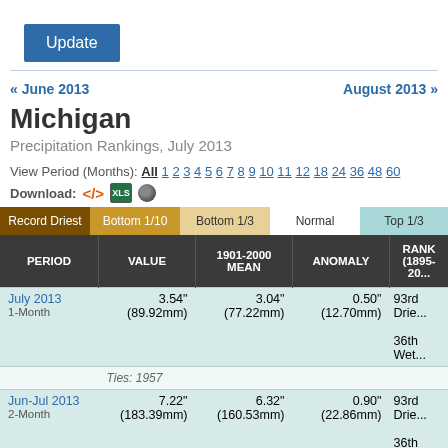[Figure (screenshot): Blue 'Update' button]
« June 2013    August 2013 »
Michigan
Precipitation Rankings, July 2013
View Period (Months): All 1 2 3 4 5 6 7 8 9 10 11 12 18 24 36 48 60
Download:
| PERIOD | VALUE | 1901-2000 MEAN | ANOMALY | RANK (1895-20...) |
| --- | --- | --- | --- | --- |
| July 2013
1-Month | 3.54"
(89.92mm) | 3.04"
(77.22mm) | 0.50"
(12.70mm) | 93rd Drie...
36th Wet... |
| Ties: 1957 |  |  |  |  |
| Jun-Jul 2013
2-Month | 7.22"
(183.39mm) | 6.32"
(160.53mm) | 0.90"
(22.86mm) | 93rd Drie...
36th Wet... |